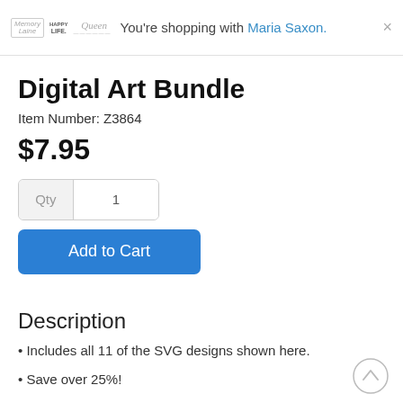You're shopping with Maria Saxon.
Digital Art Bundle
Item Number: Z3864
$7.95
Qty  1
Add to Cart
Description
• Includes all 11 of the SVG designs shown here.
• Save over 25%!
After downloading the image, you can manipulate it in